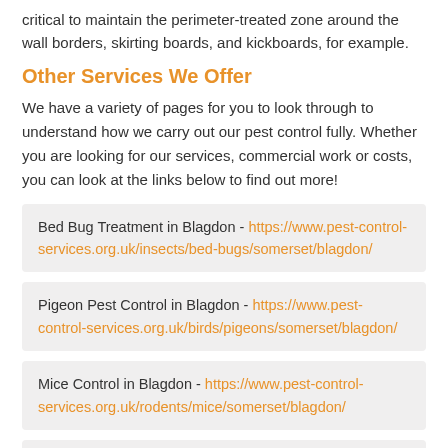critical to maintain the perimeter-treated zone around the wall borders, skirting boards, and kickboards, for example.
Other Services We Offer
We have a variety of pages for you to look through to understand how we carry out our pest control fully. Whether you are looking for our services, commercial work or costs, you can look at the links below to find out more!
Bed Bug Treatment in Blagdon - https://www.pest-control-services.org.uk/insects/bed-bugs/somerset/blagdon/
Pigeon Pest Control in Blagdon - https://www.pest-control-services.org.uk/birds/pigeons/somerset/blagdon/
Mice Control in Blagdon - https://www.pest-control-services.org.uk/rodents/mice/somerset/blagdon/
Moth Infestation in Blagdon - https://www.pest-control-services.org.uk/...